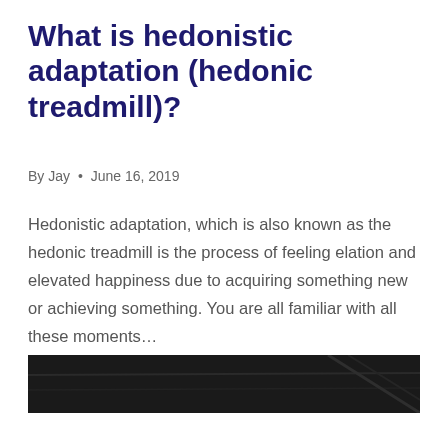What is hedonistic adaptation (hedonic treadmill)?
By Jay • June 16, 2019
Hedonistic adaptation, which is also known as the hedonic treadmill is the process of feeling elation and elevated happiness due to acquiring something new or achieving something. You are all familiar with all these moments…
READ MORE →
[Figure (photo): Dark photograph, partially visible at the bottom of the page]